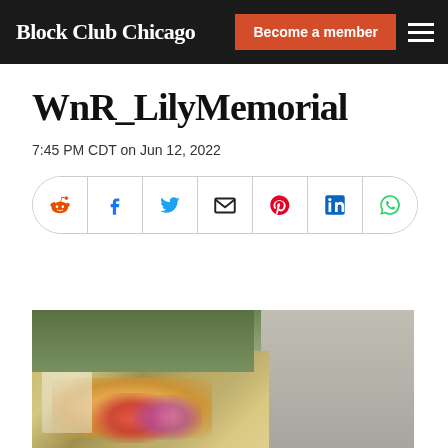Block Club Chicago | Become a member
WnR_LilyMemorial
7:45 PM CDT on Jun 12, 2022
[Figure (infographic): Social media share icons: Reddit, Facebook, Twitter, Email, Pinterest, LinkedIn, WhatsApp]
[Figure (photo): Outdoor memorial with flowers, candles, and a cross at a street corner. People visible in the background on a sidewalk near grass and trees.]